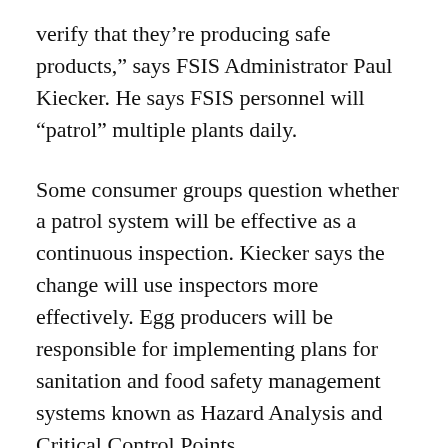verify that they’re producing safe products,” says FSIS Administrator Paul Kiecker. He says FSIS personnel will “patrol” multiple plants daily.
Some consumer groups question whether a patrol system will be effective as a continuous inspection. Kiecker says the change will use inspectors more effectively. Egg producers will be responsible for implementing plans for sanitation and food safety management systems known as Hazard Analysis and Critical Control Points.
HACCP planning puts more responsibility on egg producers to ensure they are producing safe products, according to the FSIS Administrator.
USDA said the changes in egg products inspection